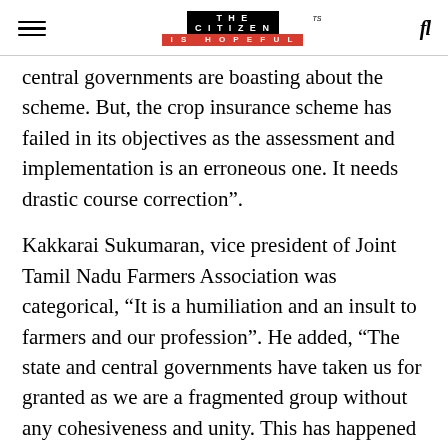THE CITIZEN IS HOPEFUL
central governments are boasting about the scheme. But, the crop insurance scheme has failed in its objectives as the assessment and implementation is an erroneous one. It needs drastic course correction”.
Kakkarai Sukumaran, vice president of Joint Tamil Nadu Farmers Association was categorical, “It is a humiliation and an insult to farmers and our profession”. He added, “The state and central governments have taken us for granted as we are a fragmented group without any cohesiveness and unity. This has happened because of the private insurance companies, they have collected